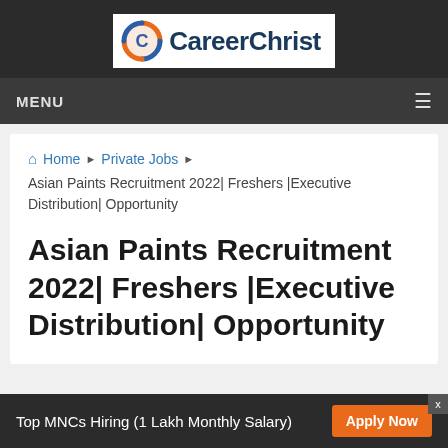CareerChrist
MENU
Home ▶ Private Jobs ▶
Asian Paints Recruitment 2022| Freshers |Executive Distribution| Opportunity
Asian Paints Recruitment 2022| Freshers |Executive Distribution| Opportunity
Top MNCs Hiring (1 Lakh Monthly Salary) Apply Now